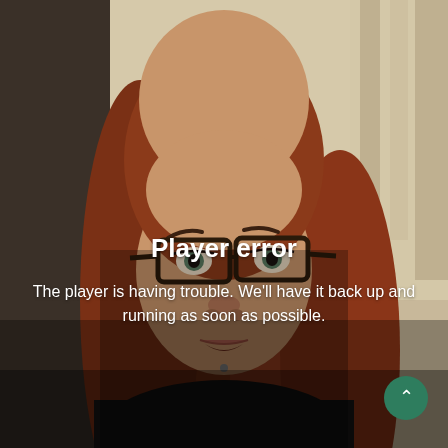[Figure (photo): A blurred screenshot of a video player showing a young woman with long red hair and dark-framed glasses, wearing a black top, in an indoor setting. The image has a semi-transparent dark overlay over the lower portion.]
Player error
The player is having trouble. We'll have it back up and running as soon as possible.